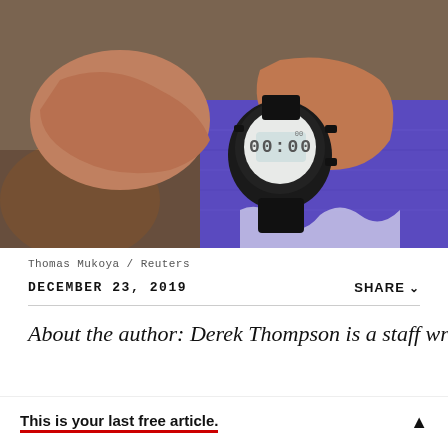[Figure (photo): Close-up photograph of hands holding a black digital stopwatch/timer displaying 00:00, against purple athletic fabric/clothing. Background is blurred, warm brown tones.]
Thomas Mukoya / Reuters
DECEMBER 23, 2019
SHARE
About the author: Derek Thompson is a staff writer
This is your last free article.